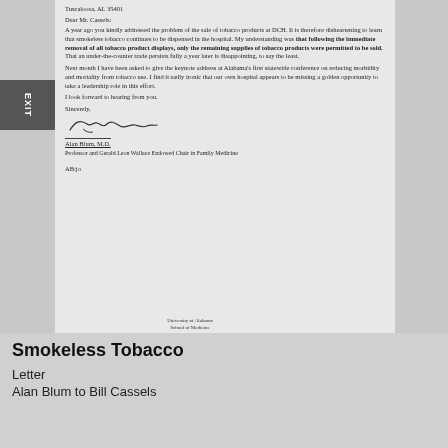Tuscaloosa, AL 35401
Dear Mr. Cassels:
A year ago you kindly addressed the problem of the sale of tobacco products at DCH. It is therefore disheartening to learn that smokeless tobacco continues to be dispensed in the hospital. My understanding was that following the immediate removal of all tobacco product displays, only the remaining supplies of tobacco products were permitted to be sold. That an under-the-counter trade persists fully a year later is disappointing, to say the least.
Next month I have been asked to give the keynote address at Alabama's first statewide conference on reducing morbidity and mortality from tobacco use. I find it sadly ironic that our own hospital appears to be missing a golden opportunity to take a leadership role in this effort.
I look forward to hearing from you.
Sincerely,
[Figure (illustration): Handwritten signature of Alan Blum, M.D.]
Alan Blum, M.D.
Professor and Gerald Leon Wallace Endowed Chair in Family Medicine
AB:jo
University of Alabama
School of Medicine
Tuscaloosa Program
700 University Blvd. E.
Tuscaloosa, Alabama 35401
(205) 348-2880
fax (205) 348-1884
THE CENTER FOR
THE STUDY OF
TOBACCO AND SOCIETY
Smokeless Tobacco
Letter
Alan Blum to Bill Cassels